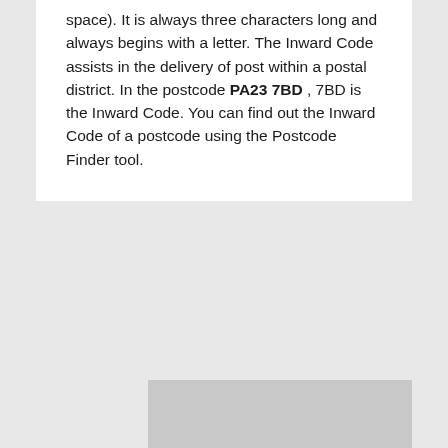space). It is always three characters long and always begins with a letter. The Inward Code assists in the delivery of post within a postal district. In the postcode PA23 7BD , 7BD is the Inward Code. You can find out the Inward Code of a postcode using the Postcode Finder tool.
[Figure (other): Gray advertisement or content placeholder box at bottom of page]